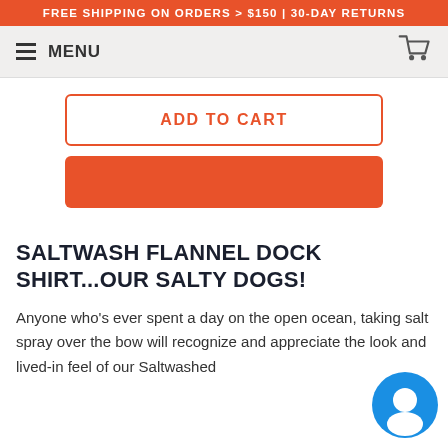FREE SHIPPING ON ORDERS > $150 | 30-DAY RETURNS
MENU
ADD TO CART
SALTWASH FLANNEL DOCK SHIRT...OUR SALTY DOGS!
Anyone who's ever spent a day on the open ocean, taking salt spray over the bow will recognize and appreciate the look and lived-in feel of our Saltwashed